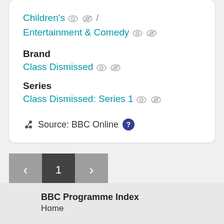Children's / Entertainment & Comedy
Brand
Class Dismissed
Series
Class Dismissed: Series 1
Source: BBC Online
1
BBC Programme Index
Home